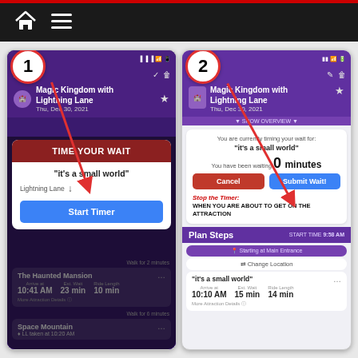[Figure (screenshot): App tutorial screenshot showing two phone screens side by side. Screen 1 shows 'TIME YOUR WAIT' modal with 'it’s a small world' attraction and a blue 'Start Timer' button. Screen 2 shows the timer running with '0 minutes' waited for 'it’s a small world', with Cancel and Submit Wait buttons, and instructions to stop the timer when about to board the attraction. Both screens show a Magic Kingdom with Lightning Lane plan for Thu, Dec 30, 2021. Numbered badges 1 and 2 with red arrows point to the relevant UI elements.]